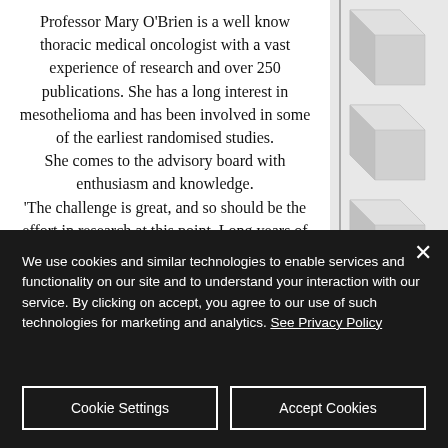Professor Mary O'Brien is a well know thoracic medical oncologist with a vast experience of research and over 250 publications. She has a long interest in mesothelioma and has been involved in some of the earliest randomised studies. She comes to the advisory board with enthusiasm and knowledge. 'The challenge is great, and so should be the effort in research at this point. Long years of difficult research is now delivering new approaches and
[Figure (illustration): Abstract geometric 3D boxes/cubes in light grey arranged vertically on the right side of the page.]
We use cookies and similar technologies to enable services and functionality on our site and to understand your interaction with our service. By clicking on accept, you agree to our use of such technologies for marketing and analytics. See Privacy Policy